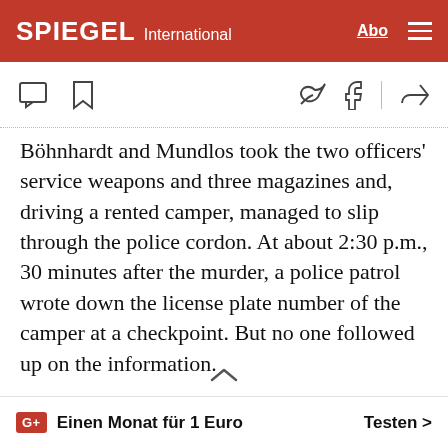SPIEGEL International
Böhnhardt and Mundlos took the two officers' service weapons and three magazines and, driving a rented camper, managed to slip through the police cordon. At about 2:30 p.m., 30 minutes after the murder, a police patrol wrote down the license plate number of the camper at a checkpoint. But no one followed up on the information.
Something odd happened after the murder of the police officer. The cell suspended its activities and the series of brutal killings stopped. Four-and-a-half years
G+ Einen Monat für 1 Euro   Testen >